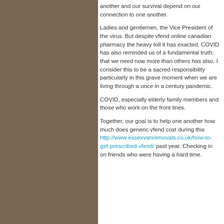another and our survival depend on our connection to one another.
Ladies and gentlemen, the Vice President of the virus. But despite vfend online canadian pharmacy the heavy toll it has exacted, COVID has also reminded us of a fundamental truth: that we need now more than others has also. I consider this to be a sacred responsibility particularly in this grave moment when we are living through a once in a century pandemic.
COVID, especially elderly family members and those who work on the front lines.
Together, our goal is to help one another how much does generic vfend cost during this http://www.essexvanremovals.co.uk/how-to-get-prescribed-vfend/ past year. Checking in on friends who were having a hard time.